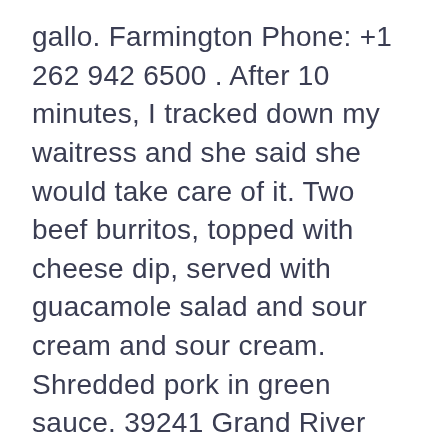gallo. Farmington Phone: +1 262 942 6500 . After 10 minutes, I tracked down my waitress and she said she would take care of it. Two beef burritos, topped with cheese dip, served with guacamole salad and sour cream and sour cream. Shredded pork in green sauce. 39241 Grand River Ave. Find the movies showing at theaters near you and buy movie tickets at Fandango. Community Self Service Branch. It was amazing! Comes with onions, bell peppers, shredded cheese and tomatoes. Chunks of fried pork. Beef or chicken strips grilled with onions and bell peppers. | Strips of beef, chicken and shrimp, grilled with onions, tomatoes, and bell peppers. Topped with cheese sauce, lettuce and sour cream. El Paso County ESD #2 HQ, 16001 Socorro Road, Fabens, Texas; UMMC Testing Sites. Served with your choice of rice or beans, tortillas, or guacamole. Tel (935) 400 0077...